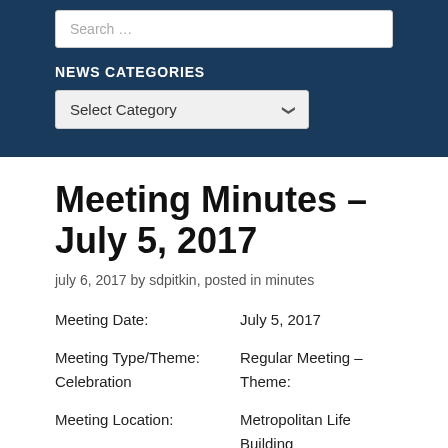Search …
NEWS CATEGORIES
Select Category
Meeting Minutes – July 5, 2017
july 6, 2017 by sdpitkin, posted in minutes
Meeting Date:   July 5, 2017
Meeting Type/Theme:   Regular Meeting – Theme: Celebration
Meeting Location:   Metropolitan Life Building